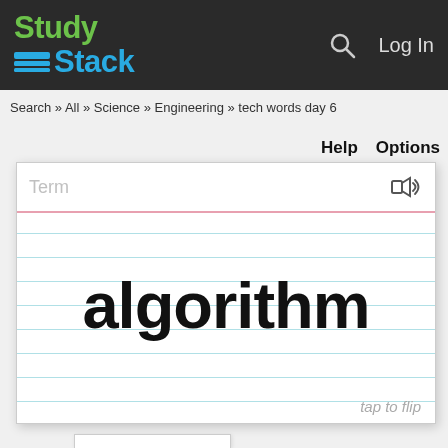[Figure (logo): StudyStack logo with green 'Study' and blue 'Stack' text on dark header bar]
StudyStack — Log In
Search » All » Science » Engineering » tech words day 6
Help   Options
[Figure (screenshot): Flashcard showing the term 'algorithm' on a ruled index card with 'Term' label, speaker icon, and 'tap to flip' prompt]